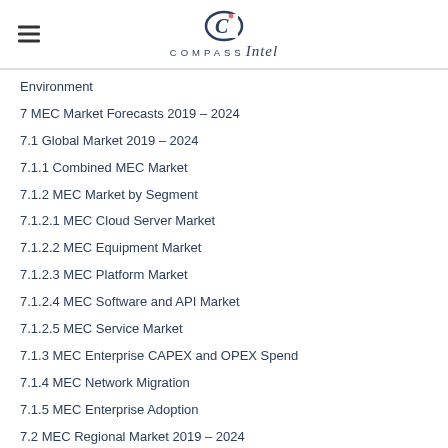COMPASS Intel
Environment
7 MEC Market Forecasts 2019 – 2024
7.1 Global Market 2019 – 2024
7.1.1 Combined MEC Market
7.1.2 MEC Market by Segment
7.1.2.1 MEC Cloud Server Market
7.1.2.2 MEC Equipment Market
7.1.2.3 MEC Platform Market
7.1.2.4 MEC Software and API Market
7.1.2.5 MEC Service Market
7.1.3 MEC Enterprise CAPEX and OPEX Spend
7.1.4 MEC Network Migration
7.1.5 MEC Enterprise Adoption
7.2 MEC Regional Market 2019 – 2024